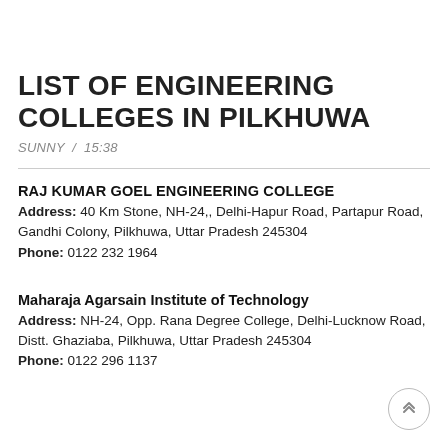LIST OF ENGINEERING COLLEGES IN PILKHUWA
SUNNY / 15:38
RAJ KUMAR GOEL ENGINEERING COLLEGE
Address: 40 Km Stone, NH-24,, Delhi-Hapur Road, Partapur Road, Gandhi Colony, Pilkhuwa, Uttar Pradesh 245304
Phone: 0122 232 1964
Maharaja Agarsain Institute of Technology
Address: NH-24, Opp. Rana Degree College, Delhi-Lucknow Road, Distt. Ghaziaba, Pilkhuwa, Uttar Pradesh 245304
Phone: 0122 296 1137